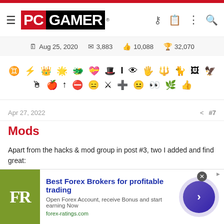[Figure (logo): PC Gamer logo with hamburger menu and header icons for key, clipboard, more, and search]
Aug 25, 2020  3,883  10,088  32,070
[Figure (infographic): Two rows of gaming achievement/badge icons]
Apr 27, 2022
#7
Mods
Apart from the hacks & mod group in post #3, two I added and find great:
Auto Record Goody Huts
Hillier Hills
Search for them in the Steam Workshop.
Hillier Hills pretty much gets rid of needing to mouseover a tile to
[Figure (infographic): Advertisement banner for Best Forex Brokers featuring FR logo (olive green background), bold blue title, subtitle text, forex-ratings.com URL, close button, and purple circular arrow button]